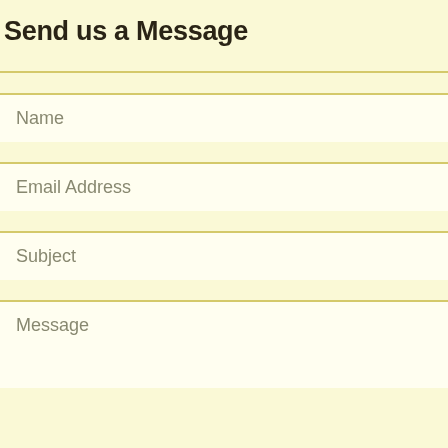Send us a Message
Name
Email Address
Subject
Message